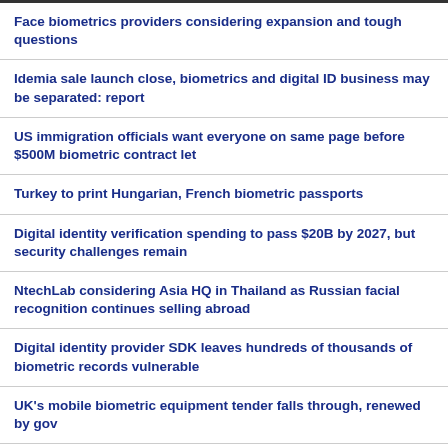Face biometrics providers considering expansion and tough questions
Idemia sale launch close, biometrics and digital ID business may be separated: report
US immigration officials want everyone on same page before $500M biometric contract let
Turkey to print Hungarian, French biometric passports
Digital identity verification spending to pass $20B by 2027, but security challenges remain
NtechLab considering Asia HQ in Thailand as Russian facial recognition continues selling abroad
Digital identity provider SDK leaves hundreds of thousands of biometric records vulnerable
UK's mobile biometric equipment tender falls through, renewed by gov
European digital ID must have further security safeguards, Czech EU